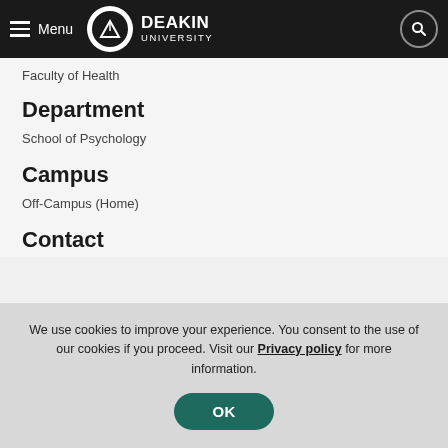Menu | DEAKIN UNIVERSITY
Faculty of Health
Department
School of Psychology
Campus
Off-Campus (Home)
Contact
We use cookies to improve your experience. You consent to the use of our cookies if you proceed. Visit our Privacy policy for more information.